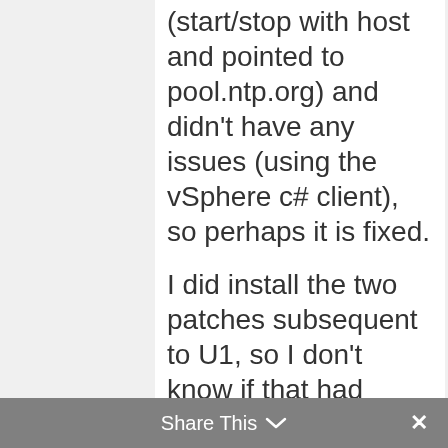(start/stop with host and pointed to pool.ntp.org) and didn't have any issues (using the vSphere c# client), so perhaps it is fixed.

I did install the two patches subsequent to U1, so I don't know if that had anything
Share This ✓ ✕